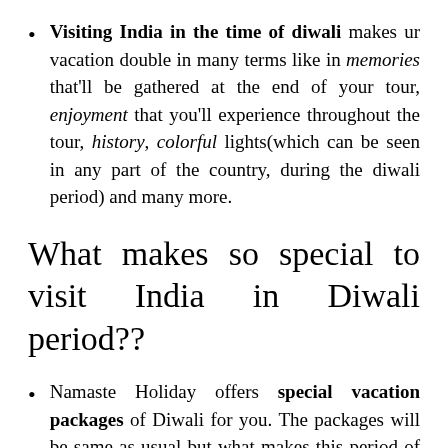Visiting India in the time of diwali makes ur vacation double in many terms like in memories that'll be gathered at the end of your tour, enjoyment that you'll experience throughout the tour, history, colorful lights(which can be seen in any part of the country, during the diwali period) and many more.
What makes so special to visit India in Diwali period??
Namaste Holiday offers special vacation packages of Diwali for you. The packages will be same as usual but what makes this period of visiting so special is the additional knowledge of